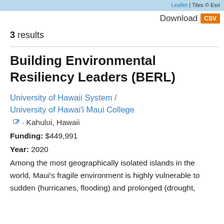Leaflet | Tiles © Esri
Download CSV
3 results
Building Environmental Resiliency Leaders (BERL)
University of Hawaii System / University of Hawai'i Maui College · Kahului, Hawaii
Funding: $449,991
Year: 2020
Among the most geographically isolated islands in the world, Maui's fragile environment is highly vulnerable to sudden (hurricanes, flooding) and prolonged (drought,